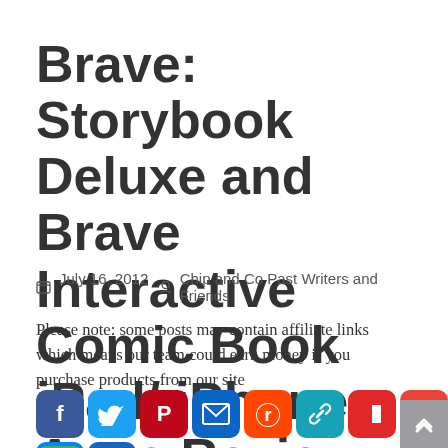Brave: Storybook Deluxe and Brave Interactive Comic Book iPad/ iPhone Apps Review
July 16, 2012  Chip and Co Past Writers and Friends
Please note: some posts may contain affiliate links which means our team could earn money if you purchase products from our site
[Figure (infographic): Row of social sharing icon buttons: Facebook (blue), Twitter (blue), Pinterest (red), Email (blue), Reddit (orange-red), Link/Copy (blue-green), Flipboard (red), Gmail (red), Messenger (blue), Print (blue), SMS (green), More/Add (blue)]